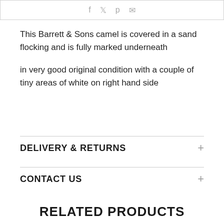[Figure (other): Social share icons bar with icons for Facebook, Twitter, Pinterest, and Email]
This Barrett & Sons camel is covered in a sand flocking and is fully marked underneath
in very good original condition with a couple of tiny areas of white on right hand side
DELIVERY & RETURNS
CONTACT US
RELATED PRODUCTS